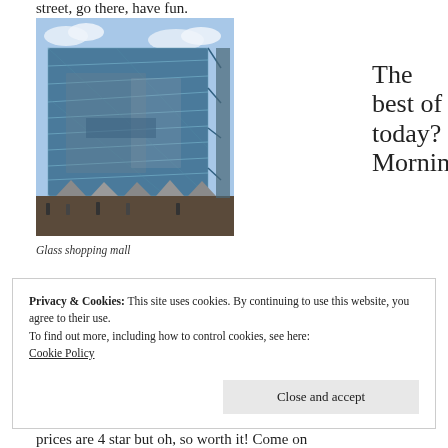street, go there, have fun.
[Figure (photo): Exterior of a glass shopping mall building with reflective panels and outdoor market stalls with umbrellas at street level, blue sky with clouds in background.]
Glass shopping mall
The best of today? Morning
Privacy & Cookies: This site uses cookies. By continuing to use this website, you agree to their use.
To find out more, including how to control cookies, see here:
Cookie Policy
Close and accept
prices are 4 star but oh, so worth it! Come on